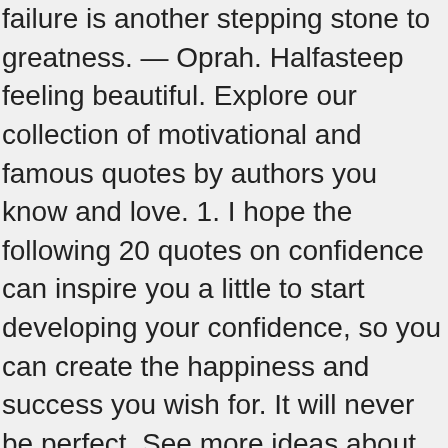Failure is another stepping stone to greatness. — Oprah. Halfasteep feeling beautiful. Explore our collection of motivational and famous quotes by authors you know and love. 1. I hope the following 20 quotes on confidence can inspire you a little to start developing your confidence, so you can create the happiness and success you wish for. It will never be perfect. See more ideas about quotes, purpose quotes, confidence quotes. "To love yourself right now, just as you are, is to give yourself heaven. To hear that you're worth it. It's so much easier when you feel good about … An important key to … - Norman Vincent Peale. Self-confidence is the first requisite to great undertakings. Quotations about Confidence Related Quotes Be Yourself Self-Respect Integrity Dare to be Great Jealousy. Sometimes all you need to build self-confidence is to hear it. Body Positive Quotes Positive Body Image Motivational Quotes For Success Inspirational Quotes Self Love Quotes Love Yourself Quotes Quotes To Live By Love Your Body Quotes You Are Awesome Quotes. Beauty begins the moment you decide to be yourself. "With realization of one's own potential and self-confidence in one's ability